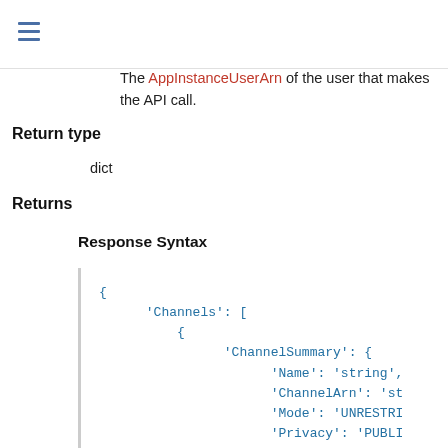The AppInstanceUserArn of the user that makes the API call.
Return type
dict
Returns
Response Syntax
{
    'Channels': [
        {
            'ChannelSummary': {
                'Name': 'string',
                'ChannelArn': 'st
                'Mode': 'UNRESTRI
                'Privacy': 'PUBLI
                'Metadata': 'stri
                'LastMessageTimes
            }
        },